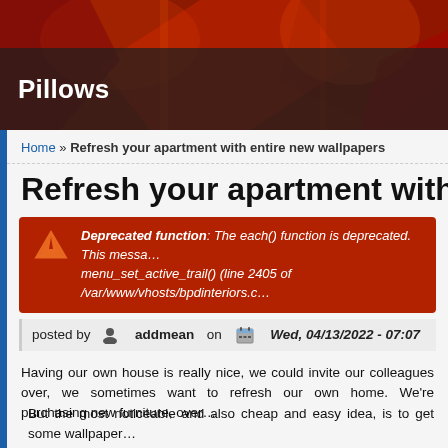[Figure (photo): Colorful decorative banner/header image with red, orange and dark tones, appearing to show decorative textiles or art.]
Pillows
Home » Refresh your apartment with entire new wallpapers
Refresh your apartment with entire new wallpapers
Deprecated function: The each() function is deprecated. This message will be suppressed on further calls in menu_set_active_trail() (line 2405 of /var/www/vhosts/bpdinteriors.c…
posted by addmean on Wed, 04/13/2022 - 07:07
Having our own house is really nice, we could invite our colleagues over, we sometimes want to refresh our own home. We're purchasing new furniture, over…
But the most noticeable and also cheap and easy idea, is to get some wallpaper…